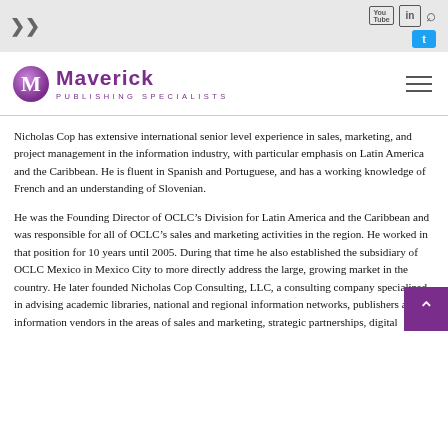Maverick Publishing Specialists — navigation header with social icons
[Figure (logo): Maverick Publishing Specialists logo with purple M icon and text]
Nicholas Cop has extensive international senior level experience in sales, marketing, and project management in the information industry, with particular emphasis on Latin America and the Caribbean. He is fluent in Spanish and Portuguese, and has a working knowledge of French and an understanding of Slovenian.
He was the Founding Director of OCLC’s Division for Latin America and the Caribbean and was responsible for all of OCLC’s sales and marketing activities in the region. He worked in that position for 10 years until 2005. During that time he also established the subsidiary of OCLC Mexico in Mexico City to more directly address the large, growing market in the country. He later founded Nicholas Cop Consulting, LLC, a consulting company specialized in advising academic libraries, national and regional information networks, publishers and information vendors in the areas of sales and marketing, strategic partnerships, digital